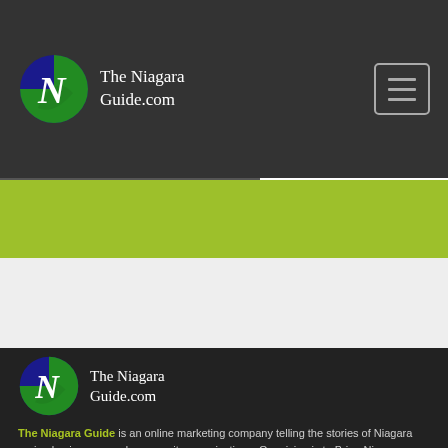The Niagara Guide.com
[Figure (logo): The Niagara Guide.com logo - circle with blue and green halves and white cursive N letter, with white text]
[Figure (logo): The Niagara Guide.com footer logo - same circle logo with white text]
The Niagara Guide is an online marketing company telling the stories of Niagara region businesses and community organizations. Our vision is to Bring Niagara Together through the sharing of our stories and useful information from local entrepreneurs and organizations. We love Niagara!